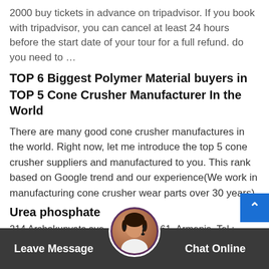2000 buy tickets in advance on tripadvisor. If you book with tripadvisor, you can cancel at least 24 hours before the start date of your tour for a full refund. do you need to …
TOP 6 Biggest Polymer Material buyers in
TOP 5 Cone Crusher Manufacturer In the World
There are many good cone crusher manufactures in the world. Right now, let me introduce the top 5 cone crusher suppliers and manufactured to you. This rank based on Google trend and our experience(We work in manufacturing cone crusher wear parts over 30 years)
Urea phosphate
214 Arshakunyats ave., Yerevan 0061, Armenia. Tel.: (+374 10) 44 77 83 (administrative department) (+374 10) 44 44 63 (agrochemicalstore) (+374 10) 44 77
Leave Message   Chat Online